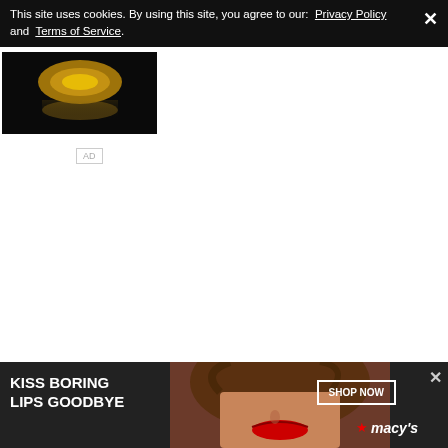This site uses cookies. By using this site, you agree to our: Privacy Policy and Terms of Service.
[Figure (photo): Dark image with golden glowing object reflected on surface, partial view]
AD
[Figure (advertisement): Macy's advertisement: KISS BORING LIPS GOODBYE with photo of woman with red lips and SHOP NOW button with Macy's star logo]